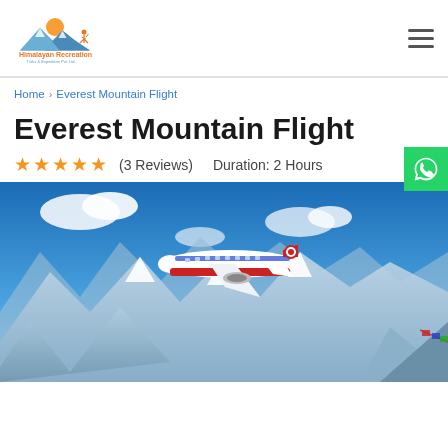Himalayan Recreation Treks & Expedition Pvt. Ltd.
Home › Everest Mountain Flight
Everest Mountain Flight
★★★★★ (3 Reviews)  Duration: 2 Hours
[Figure (photo): Nepal Airlines aircraft flying over snow-capped Himalayan mountain peaks including Mt. Everest, with blue sky and prayer flags visible]